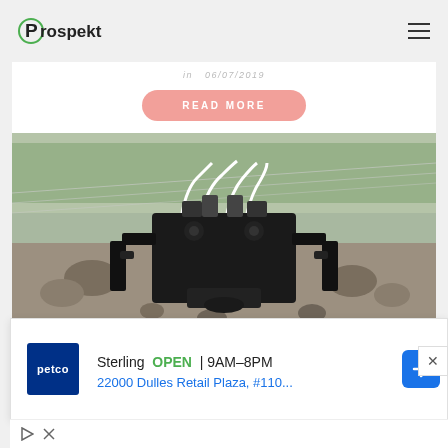Prospekt
READ MORE
[Figure (photo): Agricultural robot with black mechanical legs and white tubing/cables on a gravel/rocky surface, with green grass and greenhouse rows in the background.]
[Figure (infographic): Advertisement banner: Petco logo, Sterling OPEN 9AM-8PM, 22000 Dulles Retail Plaza, #110..., with blue navigation arrow icon. Below: play triangle and X icons.]